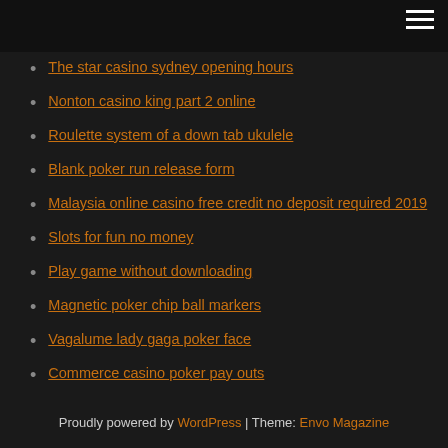The star casino sydney opening hours
Nonton casino king part 2 online
Roulette system of a down tab ukulele
Blank poker run release form
Malaysia online casino free credit no deposit required 2019
Slots for fun no money
Play game without downloading
Magnetic poker chip ball markers
Vagalume lady gaga poker face
Commerce casino poker pay outs
Proudly powered by WordPress | Theme: Envo Magazine